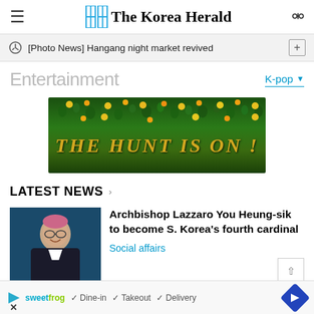The Korea Herald
[Photo News] Hangang night market revived
Entertainment
K-pop
[Figure (photo): Advertisement banner with yellow flowers in green grass field with text 'THE HUNT IS ON!']
LATEST NEWS
[Figure (photo): Photo of Archbishop Lazzaro You Heung-sik in clerical attire]
Archbishop Lazzaro You Heung-sik to become S. Korea's fourth cardinal
Social affairs
[Figure (screenshot): Bottom advertisement for sweetFrog with options: Dine-in, Takeout, Delivery]